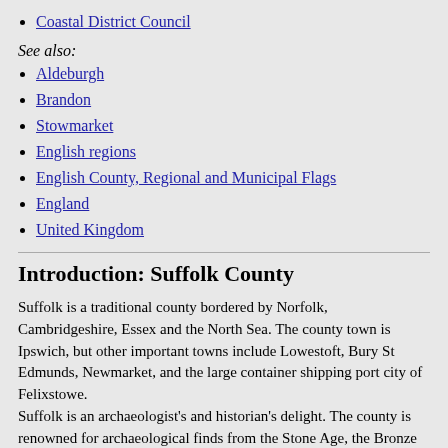Coastal District Council
See also:
Aldeburgh
Brandon
Stowmarket
English regions
English County, Regional and Municipal Flags
England
United Kingdom
Introduction: Suffolk County
Suffolk is a traditional county bordered by Norfolk, Cambridgeshire, Essex and the North Sea. The county town is Ipswich, but other important towns include Lowestoft, Bury St Edmunds, Newmarket, and the large container shipping port city of Felixstowe.
Suffolk is an archaeologist's and historian's delight. The county is renowned for archaeological finds from the Stone Age, the Bronze Age, and the Iron Age. Over the years discoveries have also been made dating back to Roman, Anglo-Saxon and Medieval periods.